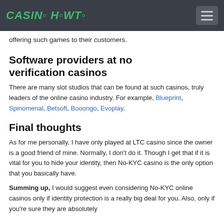CASINO HOWTO
offering such games to their customers.
Software providers at no verification casinos
There are many slot studios that can be found at such casinos, truly leaders of the online casino industry. For example, Blueprint, Spinomenal, Betsoft, Booongo, Evoplay.
Final thoughts
As for me personally, I have only played at LTC casino since the owner is a good friend of mine. Normally, I don't do it. Though I get that if it is vital for you to hide your identity, then No-KYC casino is the only option that you basically have.
Summing up, I would suggest even considering No-KYC online casinos only if identity protection is a really big deal for you. Also, only if you're sure they are absolutely...